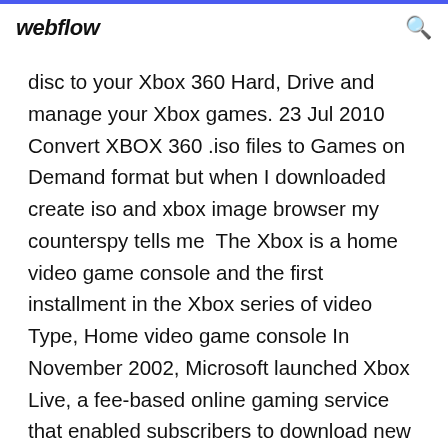webflow
disc to your Xbox 360 Hard, Drive and manage your Xbox games. 23 Jul 2010 Convert XBOX 360 .iso files to Games on Demand format but when I downloaded create iso and xbox image browser my counterspy tells me  The Xbox is a home video game console and the first installment in the Xbox series of video Type, Home video game console In November 2002, Microsoft launched Xbox Live, a fee-based online gaming service that enabled subscribers to download new content and connect with other players through a broadband  The Xbox One system software, sometimes called the Xbox OS, is the operating system The Xbox One allows users to download applications that